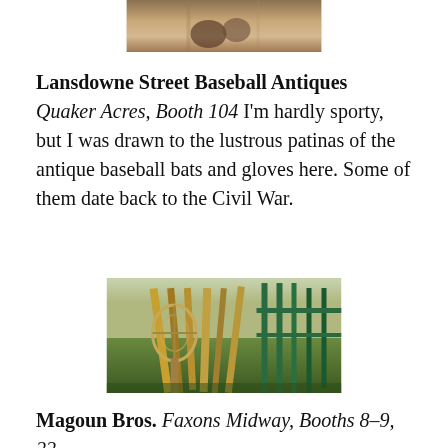[Figure (photo): Partial photo at top of page, cropped — appears to show hands or objects with warm brown tones]
Lansdowne Street Baseball Antiques Quaker Acres, Booth 104 I'm hardly sporty, but I was drawn to the lustrous patinas of the antique baseball bats and gloves here. Some of them date back to the Civil War.
[Figure (photo): Photo showing antique sports equipment including what appears to be a snowshoe/racket and wooden implements (possibly antique baseball bats or oars) leaning against a green metal rack on grass]
Magoun Bros. Faxons Midway, Booths 8–9, 22–